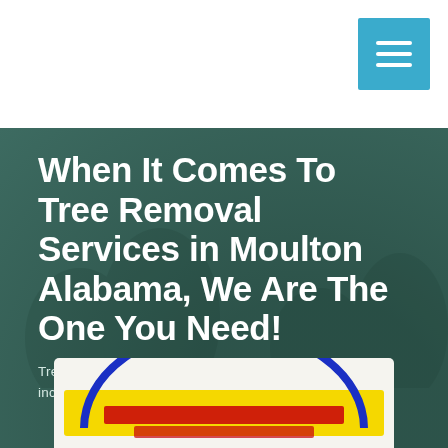[Figure (screenshot): Navigation bar with hamburger menu button in blue on white background]
When It Comes To Tree Removal Services in Moulton Alabama, We Are The One You Need!
Tree Removal Services in Moulton Alabama, we deliver incredible services when it comes to tree removal
[Figure (logo): Company logo with yellow background, blue circular arc and red text on white card at bottom of section]